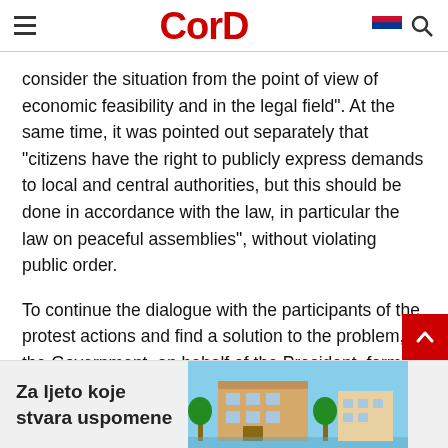CorD
consider the situation from the point of view of economic feasibility and in the legal field". At the same time, it was pointed out separately that "citizens have the right to publicly express demands to local and central authorities, but this should be done in accordance with the law, in particular the law on peaceful assemblies", without violating public order.
To continue the dialogue with the participants of the protest actions and find a solution to the problem, the Government, on behalf of the President, formed a state commission headed by Deputy Prime Minister Yeraly Tugzhanov working in Mangystau region. An
Za ljeto koje stvara uspomene